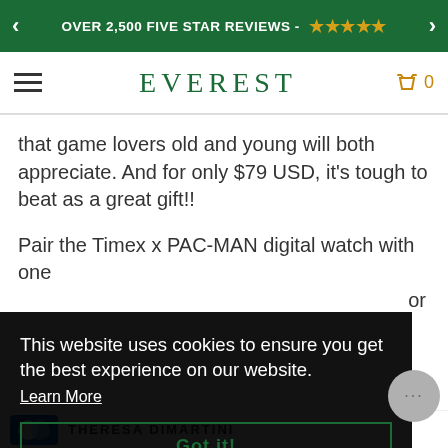OVER 2,500 FIVE STAR REVIEWS - ★★★★★
EVEREST — 0
that game lovers old and young will both appreciate. And for only $79 USD, it's tough to beat as a great gift!!
Pair the Timex x PAC-MAN digital watch with one ... or
This website uses cookies to ensure you get the best experience on our website. Learn More
Got it!
THERESA DIMARTINI